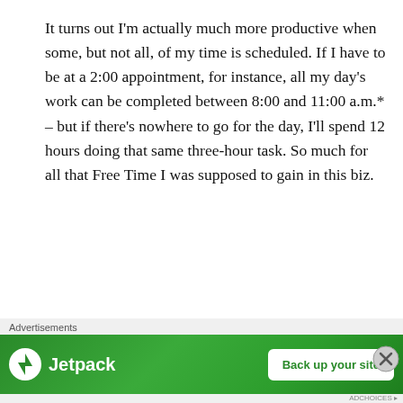It turns out I'm actually much more productive when some, but not all, of my time is scheduled.  If I have to be at a 2:00 appointment, for instance, all my day's work can be completed between 8:00 and 11:00 a.m.* – but if there's nowhere to go for the day, I'll spend 12 hours doing that same three-hour task.  So much for all that Free Time I was supposed to gain in this biz.
2.  PRO: Business expenses
Advertisements
[Figure (other): Jetpack advertisement banner with logo and 'Back up your site' button on green background]